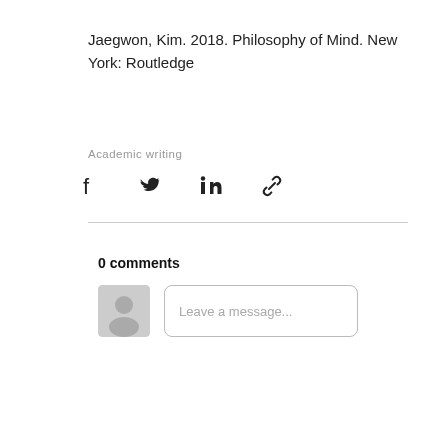Jaegwon, Kim. 2018. Philosophy of Mind. New York: Routledge
Academic writing
[Figure (other): Social share icons: Facebook, Twitter, LinkedIn, link/copy]
0 comments
[Figure (other): Avatar placeholder with person silhouette and a Leave a message... text input box]